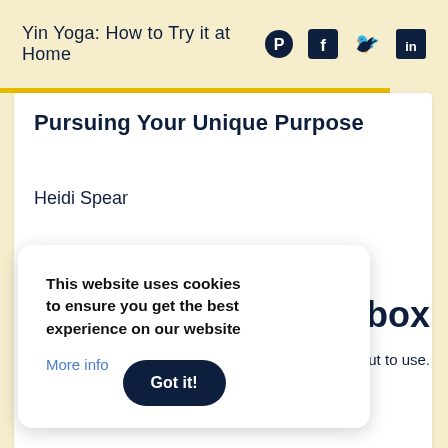Yin Yoga: How to Try it at Home
Pursuing Your Unique Purpose
Heidi Spear
Read More >
This website uses cookies to ensure you get the best experience on our website
More info
inbox
-and put to use.